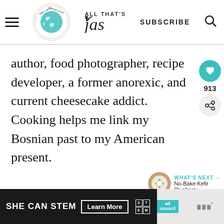All That's Jas – Simply Made Comfort Food | SUBSCRIBE
author, food photographer, recipe developer, a former anorexic, and current cheesecake addict. Cooking helps me link my Bosnian past to my American present.
[Figure (other): Heart/like button with teal circle showing heart icon, count 913, and share button below]
[Figure (other): What's Next section with donut/cheesecake thumbnail and text: No-Bake Kefir Blueberry...]
[Figure (other): SHE CAN STEM ad banner with Learn More button, STEM grid, Ad Council logo, and Moat logo]